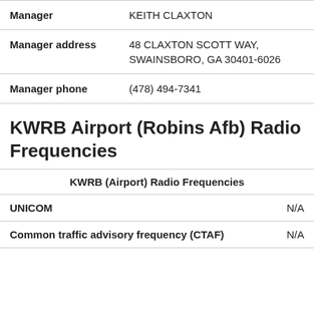| Manager | KEITH CLAXTON |
| Manager address | 48 CLAXTON SCOTT WAY, SWAINSBORO, GA 30401-6026 |
| Manager phone | (478) 494-7341 |
KWRB Airport (Robins Afb) Radio Frequencies
| KWRB (Airport) Radio Frequencies |
| --- |
| UNICOM | N/A |
| Common traffic advisory frequency (CTAF) | N/A |